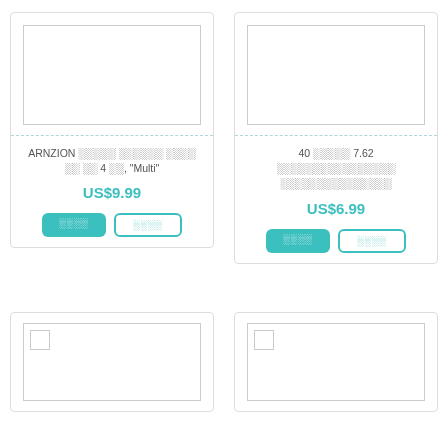[Figure (screenshot): Product card (top-left): image placeholder with border, product title in Thai/English, price US$9.99, two buttons]
ARNZION บขบขบขบ บขบขบข บขบข บข บข 4 บข, "Multi"
US$9.99
[Figure (screenshot): Product card (top-right): image placeholder with border, product title in Thai, price US$6.99, two buttons]
40 บขบขบ 7.62 บขบขบขบขบขบขบขบขบขบขบขบขบขบขบขบขบขบขบขบขบขบขบขบขบขบขบขบขบขบขบขบขบขบขบขบขบขบขบขบขบขบขบขบขบขบขบขบขบขบขบขบขบขบขบขบขบขบขบขบขบขบขบขบขบขบขบขบขบขบขบขบขบขบข
US$6.99
[Figure (screenshot): Product card (bottom-left): image placeholder with broken image icon]
[Figure (screenshot): Product card (bottom-right): image placeholder with broken image icon]